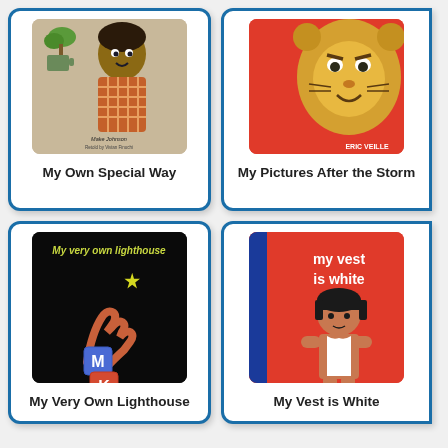[Figure (illustration): Book cover for 'My Own Special Way' - illustrated children's book cover with warm tones, character with plaid pattern]
My Own Special Way
[Figure (illustration): Book cover for 'My Pictures After the Storm' by Eric Veille - red background with illustrated lion face, author name visible]
My Pictures After the Storm
[Figure (illustration): Book cover for 'My Very Own Lighthouse' - black background with yellow star, colorful alphabet blocks stacked]
My Very Own Lighthouse
[Figure (illustration): Book cover for 'My Vest is White' by Dick Bruna - red background with simple line drawing of child wearing white vest, text in white]
My Vest is White